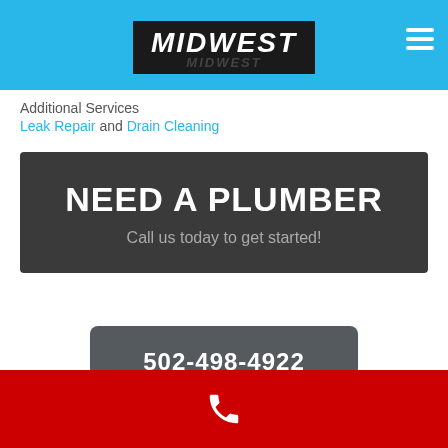MIDWEST
Additional Services
Leak Repair and Drain Cleaning
NEED A PLUMBER
Call us today to get started!
502-498-4922
[Figure (screenshot): Search bar with 'ENHANCED BY Google' text and a blue search button]
Phone icon footer bar